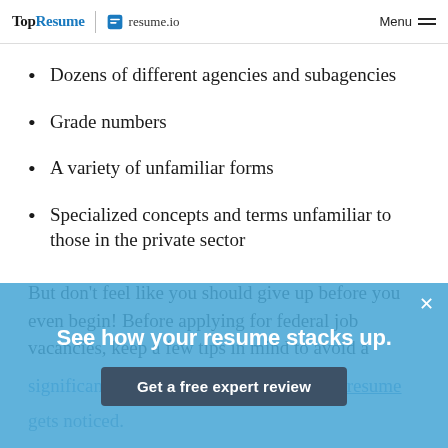TopResume | resume.io   Menu
Dozens of different agencies and subagencies
Grade numbers
A variety of unfamiliar forms
Specialized concepts and terms unfamiliar to those in the private sector
But don't feel like you should give up before you even begin! Before applying for federal job vacancies, keep a few tips in mind to avoid a significant pitfall and ensure your federal resume gets noticed.
The first key tip is the common myth that you need
[Figure (infographic): Blue promotional overlay banner reading 'See how your resume stacks up.' with a dark button 'Get a free expert review' and a close X button in the top right corner.]